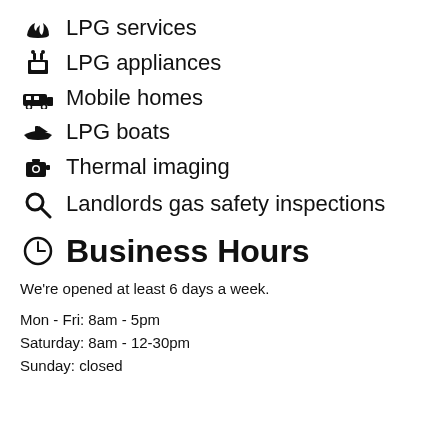LPG services
LPG appliances
Mobile homes
LPG boats
Thermal imaging
Landlords gas safety inspections
Business Hours
We're opened at least 6 days a week.
Mon - Fri: 8am - 5pm
Saturday: 8am - 12-30pm
Sunday: closed